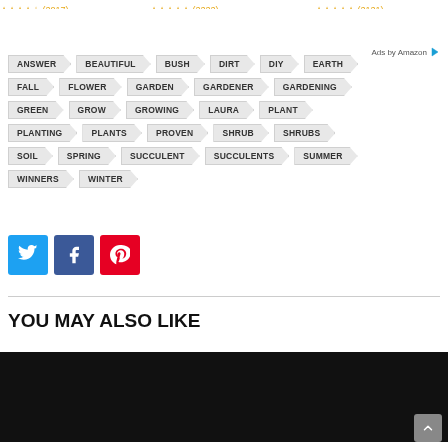[Figure (screenshot): Star ratings bar partially visible at top of page]
Ads by Amazon
ANSWER
BEAUTIFUL
BUSH
DIRT
DIY
EARTH
FALL
FLOWER
GARDEN
GARDENER
GARDENING
GREEN
GROW
GROWING
LAURA
PLANT
PLANTING
PLANTS
PROVEN
SHRUB
SHRUBS
SOIL
SPRING
SUCCULENT
SUCCULENTS
SUMMER
WINNERS
WINTER
[Figure (infographic): Social share buttons: Twitter (blue), Facebook (dark blue), Pinterest (red)]
YOU MAY ALSO LIKE
[Figure (photo): Black image area for related content]